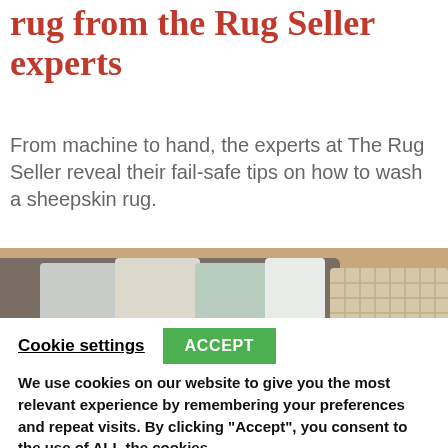rug from the Rug Seller experts
From machine to hand, the experts at The Rug Seller reveal their fail-safe tips on how to wash a sheepskin rug.
[Figure (photo): Interior scene with a grey sofa with cushions, wooden herringbone floor, and a wicker basket, with a fluffy sheepskin rug visible on the left.]
Cookie settings  ACCEPT
We use cookies on our website to give you the most relevant experience by remembering your preferences and repeat visits. By clicking “Accept”, you consent to the use of ALL the cookies.